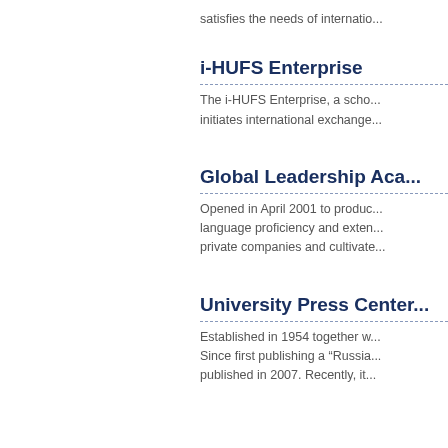satisfies the needs of internatio...
i-HUFS Enterprise
The i-HUFS Enterprise, a scho... initiates international exchange...
Global Leadership Aca...
Opened in April 2001 to produc... language proficiency and exten... private companies and cultivate...
University Press Center...
Established in 1954 together w... Since first publishing a "Russia... published in 2007. Recently, it...